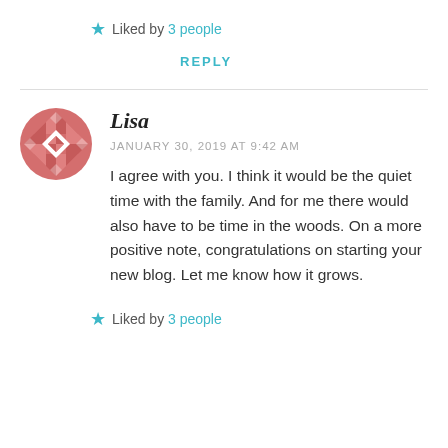★ Liked by 3 people
REPLY
[Figure (illustration): Circular avatar with a geometric quilt-style pattern in terracotta/salmon pink with a white diamond center motif]
Lisa
JANUARY 30, 2019 AT 9:42 AM
I agree with you. I think it would be the quiet time with the family. And for me there would also have to be time in the woods. On a more positive note, congratulations on starting your new blog. Let me know how it grows.
★ Liked by 3 people